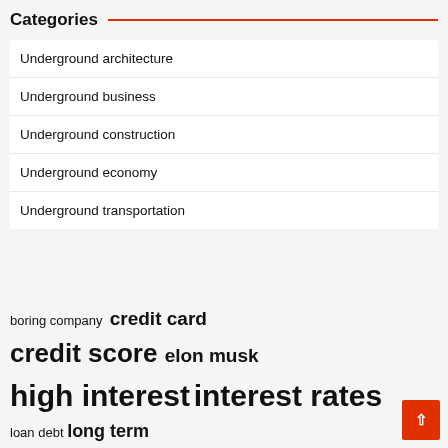Categories
Underground architecture
Underground business
Underground construction
Underground economy
Underground transportation
boring company  credit card  credit score  elon musk  high interest  interest rates  loan debt  long term